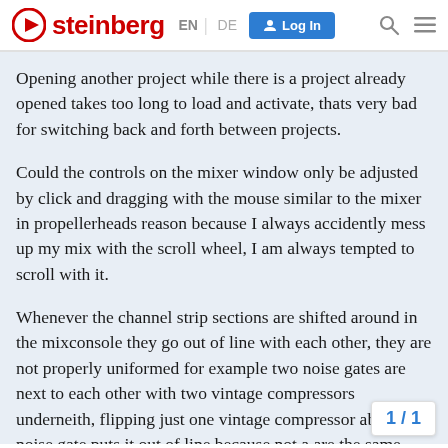steinberg EN | DE Log In
Opening another project while there is a project already opened takes too long to load and activate, thats very bad for switching back and forth between projects.
Could the controls on the mixer window only be adjusted by click and dragging with the mouse similar to the mixer in propellerheads reason because I always accidently mess up my mix with the scroll wheel, I am always tempted to scroll with it.
Whenever the channel strip sections are shifted around in the mixconsole they go out of line with each other, they are not properly uniformed for example two noise gates are next to each other with two vintage compressors underneith, flipping just one vintage compressor above the noise gate puts it out of line because not a are the same size. The new look of the ch
1 / 1